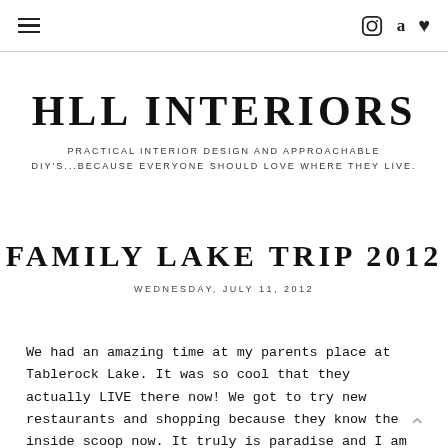HLL INTERIORS — navigation with hamburger menu, Instagram, Amazon, and heart/wishlist icons
HLL INTERIORS
PRACTICAL INTERIOR DESIGN AND APPROACHABLE DIY'S...BECAUSE EVERYONE SHOULD LOVE WHERE THEY LIVE.
FAMILY LAKE TRIP 2012
WEDNESDAY, JULY 11, 2012
We had an amazing time at my parents place at Tablerock Lake. It was so cool that they actually LIVE there now! We got to try new restaurants and shopping because they know the inside scoop now. It truly is paradise and I am so happy for them for taking this plunge so early in life! There